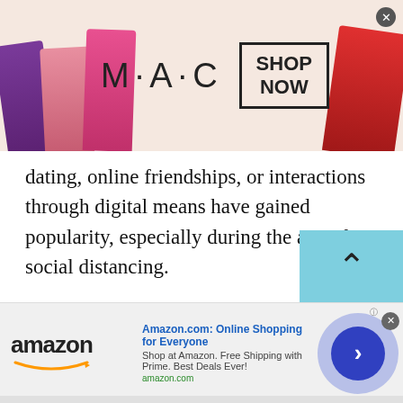[Figure (photo): MAC cosmetics advertisement banner with colorful lipsticks on left and right, MAC logo text in center, and a 'SHOP NOW' box with close button.]
dating, online friendships, or interactions through digital means have gained popularity, especially during the age of social distancing.
If you look at it this way, undoubtedly, Nigerian Meet New People is a wonderful way of reducing loneliness and reducing the risk of mental disorders. Even if you are not looking for a romantic relationship through Nigerian Meet New People , you can speak with a stranger for a few minutes and lift the emotional weight off of your chest.
[Figure (screenshot): Amazon.com advertisement banner with Amazon logo on left, 'Amazon.com: Online Shopping for Everyone' title, 'Shop at Amazon. Free Shipping with Prime. Best Deals Ever!' description, amazon.com URL in green, and a blue circular arrow button on the right. Close button at top right.]